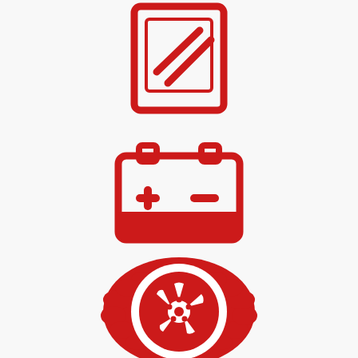[Figure (illustration): Three red automotive service icons arranged vertically: 1) A clipboard/notepad icon with diagonal lines (representing a service checklist/glass), 2) A car battery icon with plus and minus terminals, 3) A tire/wheel icon showing a 5-spoke wheel with textured tread]